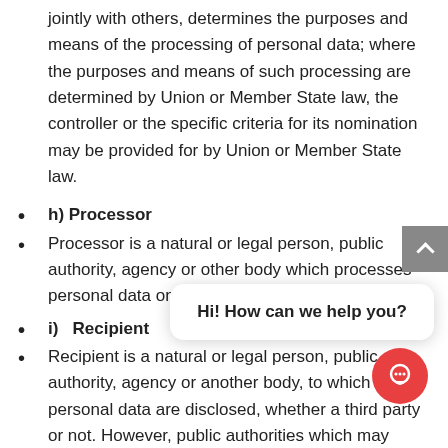jointly with others, determines the purposes and means of the processing of personal data; where the purposes and means of such processing are determined by Union or Member State law, the controller or the specific criteria for its nomination may be provided for by Union or Member State law.
h) Processor
Processor is a natural or legal person, public authority, agency or other body which processes personal data on behalf of the controller.
i)   Recipient
Recipient is a natural or legal person, public authority, agency or another body, to which the personal data are disclosed, whether a third party or not. However, public authorities which may receive personal data in the framework of a particular inquiry in accordance with Union or Member State law shall